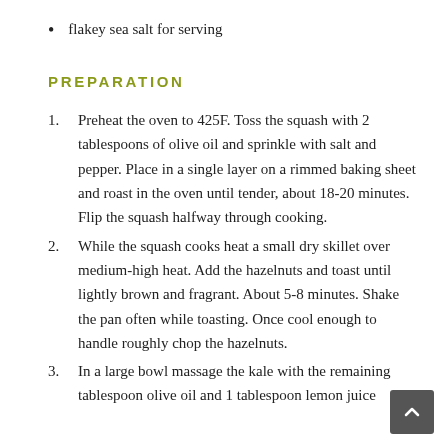flakey sea salt for serving
PREPARATION
Preheat the oven to 425F. Toss the squash with 2 tablespoons of olive oil and sprinkle with salt and pepper. Place in a single layer on a rimmed baking sheet and roast in the oven until tender, about 18-20 minutes. Flip the squash halfway through cooking.
While the squash cooks heat a small dry skillet over medium-high heat. Add the hazelnuts and toast until lightly brown and fragrant. About 5-8 minutes. Shake the pan often while toasting. Once cool enough to handle roughly chop the hazelnuts.
In a large bowl massage the kale with the remaining tablespoon olive oil and 1 tablespoon lemon juice